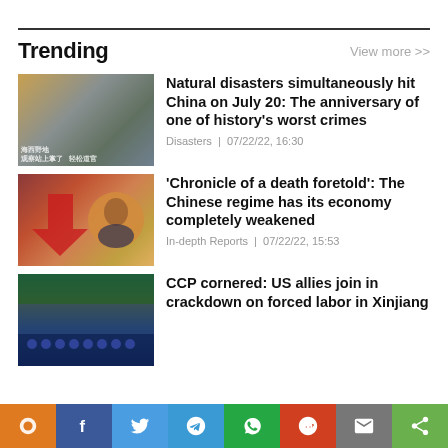Trending
View more >>
[Figure (photo): Collage of natural disaster images: sandstorm, motorcyclists in storm, flooding in China, with Chinese text overlays]
Natural disasters simultaneously hit China on July 20: The anniversary of one of history's worst crimes
Disasters | 07/22/22, 16:30
[Figure (photo): Chinese leader Xi Jinping portrait overlaid on a declining economy chart background with red downward arrow]
'Chronicle of a death foretold': The Chinese regime has its economy completely weakened
In-depth Reports | 07/22/22, 15:53
[Figure (photo): Rows of Uyghur detainees in blue uniforms at a detention facility in Xinjiang]
CCP cornered: US allies join in crackdown on forced labor in Xinjiang